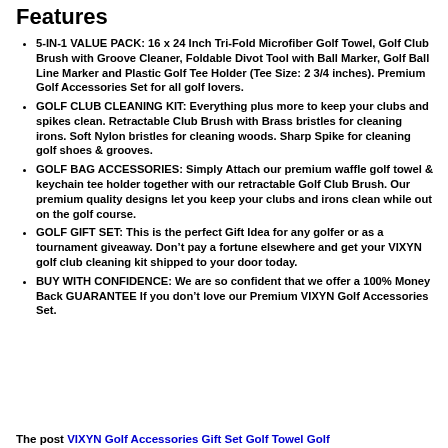Features
5-IN-1 VALUE PACK: 16 x 24 Inch Tri-Fold Microfiber Golf Towel, Golf Club Brush with Groove Cleaner, Foldable Divot Tool with Ball Marker, Golf Ball Line Marker and Plastic Golf Tee Holder (Tee Size: 2 3/4 inches). Premium Golf Accessories Set for all golf lovers.
GOLF CLUB CLEANING KIT: Everything plus more to keep your clubs and spikes clean. Retractable Club Brush with Brass bristles for cleaning irons. Soft Nylon bristles for cleaning woods. Sharp Spike for cleaning golf shoes & grooves.
GOLF BAG ACCESSORIES: Simply Attach our premium waffle golf towel & keychain tee holder together with our retractable Golf Club Brush. Our premium quality designs let you keep your clubs and irons clean while out on the golf course.
GOLF GIFT SET: This is the perfect Gift Idea for any golfer or as a tournament giveaway. Don’t pay a fortune elsewhere and get your VIXYN golf club cleaning kit shipped to your door today.
BUY WITH CONFIDENCE: We are so confident that we offer a 100% Money Back GUARANTEE If you don’t love our Premium VIXYN Golf Accessories Set.
The post VIXYN Golf Accessories Gift Set Golf Towel Golf...